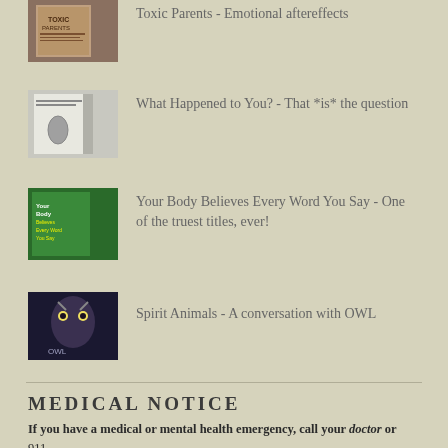Toxic Parents - Emotional aftereffects
What Happened to You? - That *is* the question
Your Body Believes Every Word You Say - One of the truest titles, ever!
Spirit Animals - A conversation with OWL
MEDICAL NOTICE
If you have a medical or mental health emergency, call your doctor or 911.
Nothing contained in this blog (The Self-Help Whisperer®) is intended to establish or replace a physician-